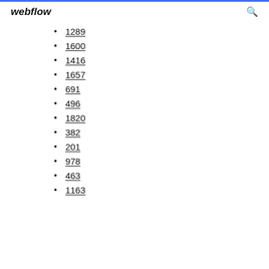webflow
1289
1600
1416
1657
691
496
1820
382
201
978
463
1163